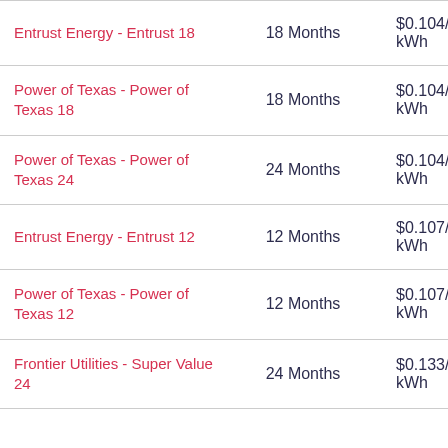| Plan | Term | Rate |
| --- | --- | --- |
| Entrust Energy - Entrust 18 | 18 Months | $0.104/kWh |
| Power of Texas - Power of Texas 18 | 18 Months | $0.104/kWh |
| Power of Texas - Power of Texas 24 | 24 Months | $0.104/kWh |
| Entrust Energy - Entrust 12 | 12 Months | $0.107/kWh |
| Power of Texas - Power of Texas 12 | 12 Months | $0.107/kWh |
| Frontier Utilities - Super Value 24 | 24 Months | $0.133/kWh |